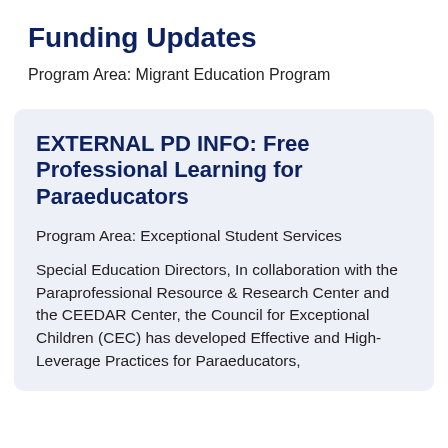Funding Updates
Program Area: Migrant Education Program
EXTERNAL PD INFO: Free Professional Learning for Paraeducators
Program Area: Exceptional Student Services
Special Education Directors, In collaboration with the Paraprofessional Resource & Research Center and the CEEDAR Center, the Council for Exceptional Children (CEC) has developed Effective and High-Leverage Practices for Paraeducators,